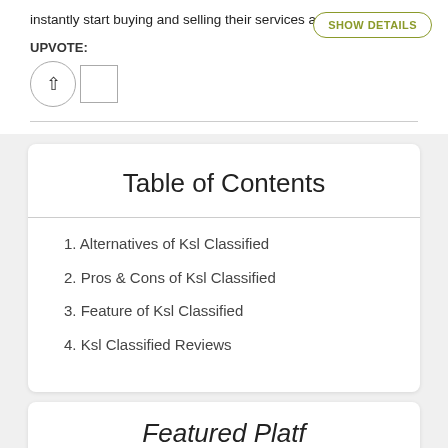instantly start buying and selling their services and goods..
UPVOTE:
1. Alternatives of Ksl Classified
2. Pros & Cons of Ksl Classified
3. Feature of Ksl Classified
4. Ksl Classified Reviews
Table of Contents
Featured Platf...